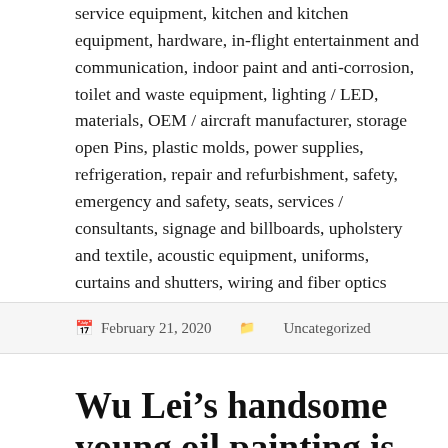service equipment, kitchen and kitchen equipment, hardware, in-flight entertainment and communication, indoor paint and anti-corrosion, toilet and waste equipment, lighting / LED, materials, OEM / aircraft manufacturer, storage open Pins, plastic molds, power supplies, refrigeration, repair and refurbishment, safety, emergency and safety, seats, services / consultants, signage and billboards, upholstery and textile, acoustic equipment, uniforms, curtains and shutters, wiring and fiber optics
February 21, 2020   Uncategorized
Wu Lei's handsome young oil painting is classical and